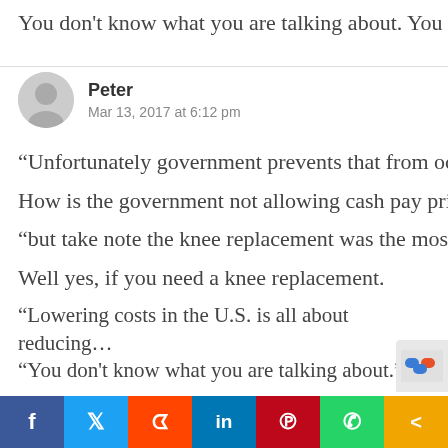You don't know what you are talking about. You a…
Peter
Mar 13, 2017 at 6:12 pm
“Unfortunately government prevents that from oc…
How is the government not allowing cash pay pri…
“but take note the knee replacement was the most…
Well yes, if you need a knee replacement.
“Lowering costs in the U.S. is all about reducing…
“You don’t know what you are talking about.”
So the Republican plan just introduced gives us b…